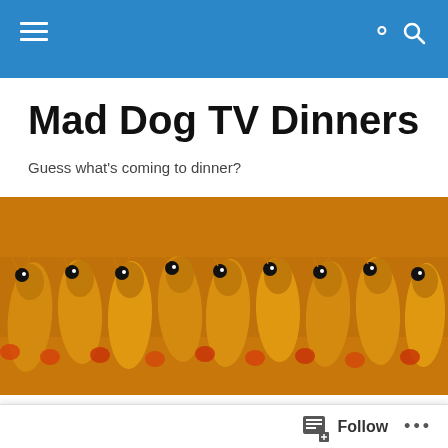Mad Dog TV Dinners — navigation bar
Mad Dog TV Dinners
Guess what's coming to dinner?
[Figure (photo): Close-up photo of rows of crayfish/prawns with black eyes, golden-orange coloring, viewed from above]
TAGGED WITH DESIRÉE
Merluza al Horno con Patatas
Follow